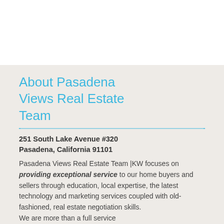About Pasadena Views Real Estate Team
251 South Lake Avenue #320
Pasadena, California 91101
Pasadena Views Real Estate Team |KW focuses on providing exceptional service to our home buyers and sellers through education, local expertise, the latest technology and marketing services coupled with old-fashioned, real estate negotiation skills.
We are more than a full service